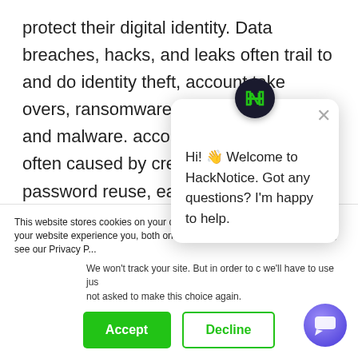protect their digital identity. Data breaches, hacks, and leaks often trail to and do identity theft, account take overs, ransomware, spyware, extortion, and malware. account takeovers are often caused by credential reuse, password reuse, easily guessed passwords, and are facilitated by the sharing of billions of credentials and other customer information through data leaks. as the direct result of data
This website stores cookies on your computer. These are used to improve your website experience you, both on this website and through cookies we use, see our Privacy P...
We won't track your site. But in order to c we'll have to use jus not asked to make this choice again.
Hi! 👋 Welcome to HackNotice. Got any questions? I'm happy to help.